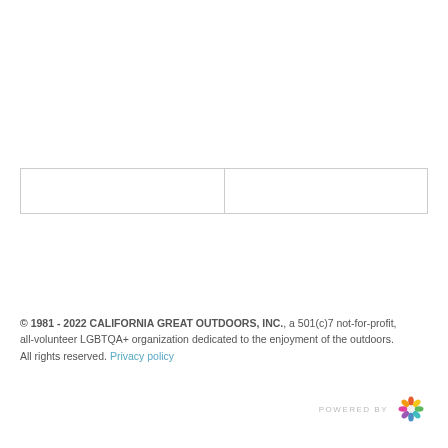|  |  |
© 1981 - 2022 CALIFORNIA GREAT OUTDOORS, INC., a 501(c)7 not-for-profit, all-volunteer LGBTQA+ organization dedicated to the enjoyment of the outdoors. All rights reserved. Privacy policy